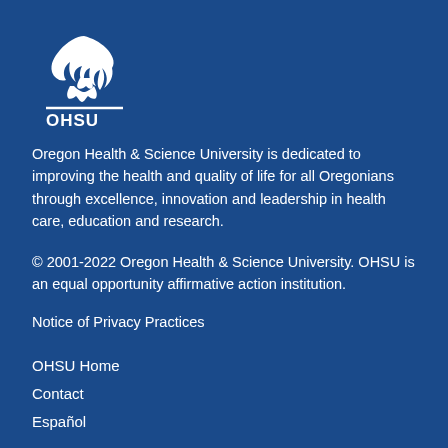[Figure (logo): OHSU (Oregon Health & Science University) logo — white bird/flame emblem above a horizontal line with OHSU text below]
Oregon Health & Science University is dedicated to improving the health and quality of life for all Oregonians through excellence, innovation and leadership in health care, education and research.
© 2001-2022 Oregon Health & Science University. OHSU is an equal opportunity affirmative action institution.
Notice of Privacy Practices
OHSU Home
Contact
Español